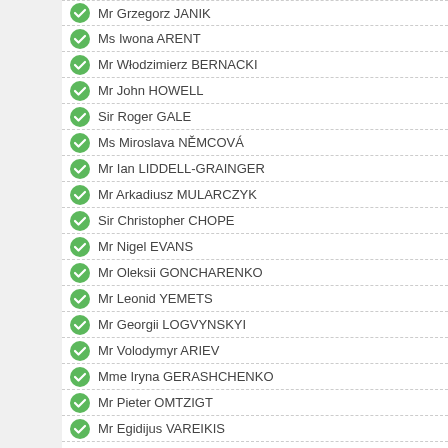Mr Grzegorz JANIK
Ms Iwona ARENT
Mr Włodzimierz BERNACKI
Mr John HOWELL
Sir Roger GALE
Ms Miroslava NĚMCOVÁ
Mr Ian LIDDELL-GRAINGER
Mr Arkadiusz MULARCZYK
Sir Christopher CHOPE
Mr Nigel EVANS
Mr Oleksii GONCHARENKO
Mr Leonid YEMETS
Mr Georgii LOGVYNSKYI
Mr Volodymyr ARIEV
Mme Iryna GERASHCHENKO
Mr Pieter OMTZIGT
Mr Egidijus VAREIKIS